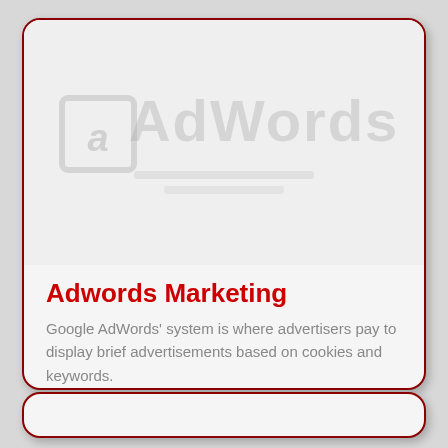[Figure (logo): Faded watermark-style AdWords logo with large stylized text 'AdWords' in light gray on a light gray background]
Adwords Marketing
Google AdWords' system is where advertisers pay to display brief advertisements based on cookies and keywords.